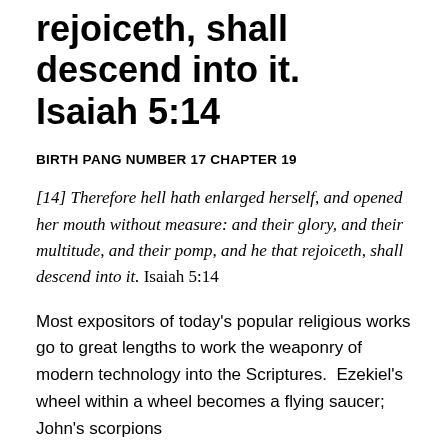rejoiceth, shall descend into it. Isaiah 5:14
BIRTH PANG NUMBER 17 CHAPTER 19
[14] Therefore hell hath enlarged herself, and opened her mouth without measure: and their glory, and their multitude, and their pomp, and he that rejoiceth, shall descend into it. Isaiah 5:14
Most expositors of today’s popular religious works go to great lengths to work the weaponry of modern technology into the Scriptures.  Ezekiel’s wheel within a wheel becomes a flying saucer; John’s scorpions